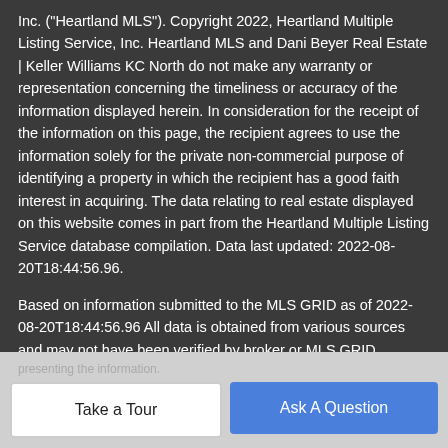Inc. ("Heartland MLS"). Copyright 2022, Heartland Multiple Listing Service, Inc. Heartland MLS and Dani Beyer Real Estate | Keller Williams KC North do not make any warranty or representation concerning the timeliness or accuracy of the information displayed herein. In consideration for the receipt of the information on this page, the recipient agrees to use the information solely for the private non-commercial purpose of identifying a property in which the recipient has a good faith interest in acquiring. The data relating to real estate displayed on this website comes in part from the Heartland Multiple Listing Service database compilation. Data last updated: 2022-08-20T18:44:56.96.
Based on information submitted to the MLS GRID as of 2022-08-20T18:44:56.96 All data is obtained from various sources and may not have been verified by broker or MLS GRID. Supplied Open House Information is subject to change without notice. All information should be independently reviewed and verified for accuracy. Properties may or may not be listed by the office/agent
Take a Tour | Ask A Question